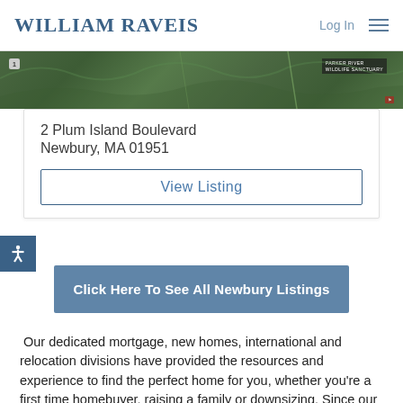WILLIAM RAVEIS
[Figure (map): Aerial/satellite map view showing Plum Island area with Parker River Wildlife Sanctuary label and map badge]
2 Plum Island Boulevard
Newbury, MA 01951
View Listing
Click Here To See All Newbury Listings
Our dedicated mortgage, new homes, international and relocation divisions have provided the resources and experience to find the perfect home for you, whether you're a first time homebuyer, raising a family or downsizing. Since our establishment in 1974 - William Raveis Real Estate, Mortgage & Insurance has experienced steady growth primarily through the